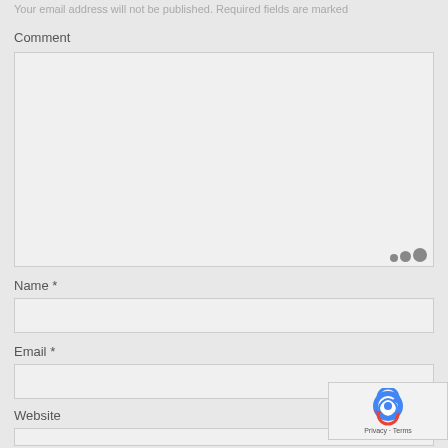Your email address will not be published. Required fields are marked
Comment
[Figure (other): Large empty textarea input box for comment entry with resize handle dots in bottom right corner]
Name *
[Figure (other): Single line text input field for Name]
Email *
[Figure (other): Single line text input field for Email]
Website
[Figure (other): Single line text input field for Website]
[Figure (other): reCAPTCHA badge in bottom right corner showing Google reCAPTCHA logo and Privacy - Terms links]